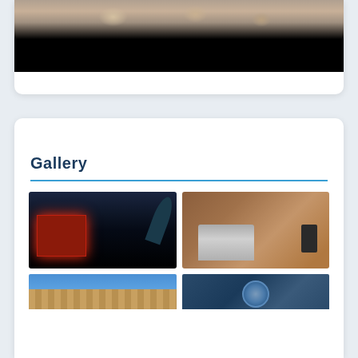[Figure (photo): Top partial photo showing people (cropped), with a black bar at the bottom]
Gallery
[Figure (photo): Dark night scene with people around a glowing red laptop/device and telescope silhouette against blue sky]
[Figure (photo): Person's hands typing on a laptop at a wooden desk, with colorful screen visible]
[Figure (photo): Desert rocky terrain under clear blue sky]
[Figure (photo): Air Force emblem/logo with dark background]